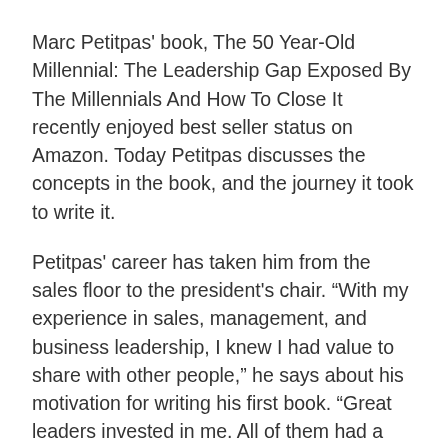Marc Petitpas' book, The 50 Year-Old Millennial: The Leadership Gap Exposed By The Millennials And How To Close It recently enjoyed best seller status on Amazon. Today Petitpas discusses the concepts in the book, and the journey it took to write it.
Petitpas' career has taken him from the sales floor to the president's chair. “With my experience in sales, management, and business leadership, I knew I had value to share with other people,” he says about his motivation for writing his first book. “Great leaders invested in me. All of them had a piece of the progress of my success. I saw their impact on me and other people, and I observed the impact they had on their teams. As I went through my career, I built a process that was transferable to other leaders. I wrote my book so I reach more people. It’s a manifesto and a manual that shows why leadership is important and how l